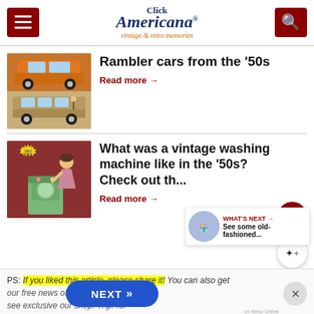Click Americana — vintage & retro memories
Rambler cars from the '50s
Read more →
[Figure (photo): Vintage Rambler cars from the 1950s — orange car on top, tan station wagon below]
What was a vintage washing machine like in the '50s? Check out th...
Read more →
[Figure (photo): Vintage 1950s advertisement showing a woman with a green washing machine]
WHAT'S NEXT → See some old-fashioned...
PS: If you liked this article, please share it! You can also get our free news... ok & Pinterest...lus see exclusive ... our shop. Th...p: for